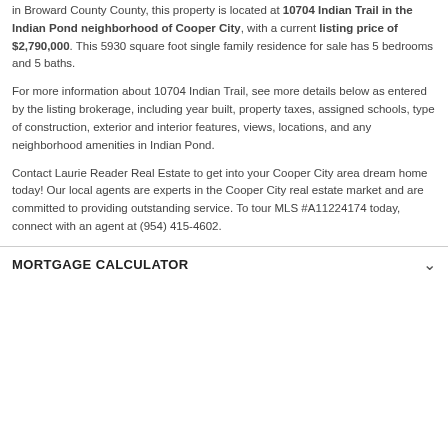in Broward County County, this property is located at 10704 Indian Trail in the Indian Pond neighborhood of Cooper City, with a current listing price of $2,790,000. This 5930 square foot single family residence for sale has 5 bedrooms and 5 baths.
For more information about 10704 Indian Trail, see more details below as entered by the listing brokerage, including year built, property taxes, assigned schools, type of construction, exterior and interior features, views, locations, and any neighborhood amenities in Indian Pond.
Contact Laurie Reader Real Estate to get into your Cooper City area dream home today! Our local agents are experts in the Cooper City real estate market and are committed to providing outstanding service. To tour MLS #A11224174 today, connect with an agent at (954) 415-4602.
MORTGAGE CALCULATOR